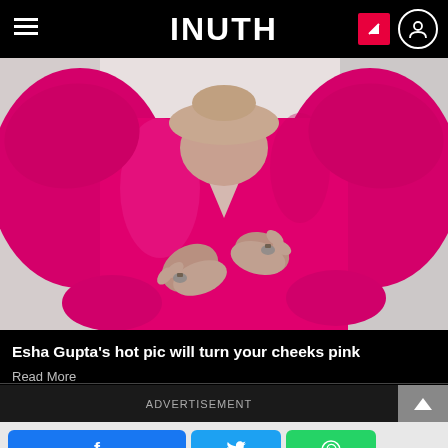INUTH
[Figure (photo): Woman in hot pink satin dress with puffed sleeves, hands on chest, wearing rings]
Esha Gupta's hot pic will turn your cheeks pink
Read More
[Figure (other): ADVERTISEMENT banner with scroll-to-top button]
[Figure (other): Social share buttons: Facebook, Twitter, WhatsApp]